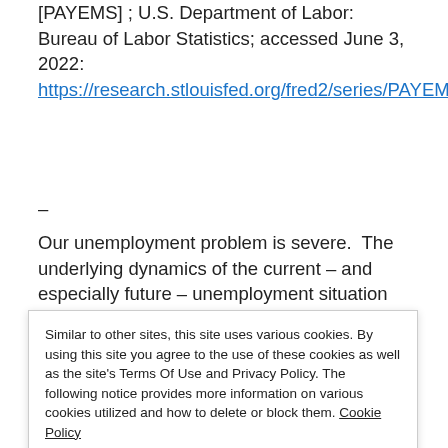[PAYEMS] ; U.S. Department of Labor: Bureau of Labor Statistics; accessed June 3, 2022: https://research.stlouisfed.org/fred2/series/PAYEMS
–
Our unemployment problem is severe.  The underlying dynamics of the current – and especially future – unemployment situation remain exceedingly worrisome.  These
Similar to other sites, this site uses various cookies. By using this site you agree to the use of these cookies as well as the site's Terms Of Use and Privacy Policy. The following notice provides more information on various cookies utilized and how to delete or block them. Cookie Policy
Close and accept
category.  This commentary includes the page titled "U.S. Unemployment Trends,"